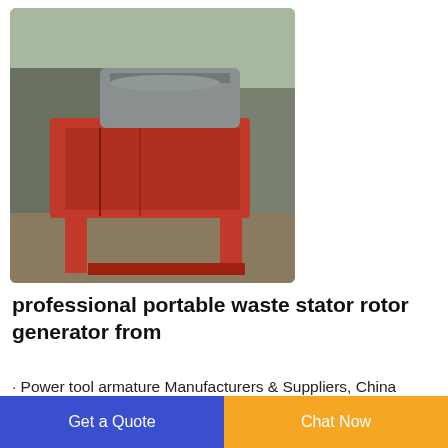[Figure (photo): A red industrial waste stator rotor crusher/shredder machine on a frame, photographed outdoors on a concrete surface with industrial buildings in the background.]
professional portable waste stator rotor generator from
· Power tool armature Manufacturers & Suppliers, China gourmia gcm4900 solid waste crusher from chinese supplier 2019 Best Designed Used waste stator rotor and armature for gold recovery 2019 newly designed copper granules for electronic wire New 2019 product idea electric scrap copper wire recycling machine 9500w generator scrap car
Get a Quote   Chat Now